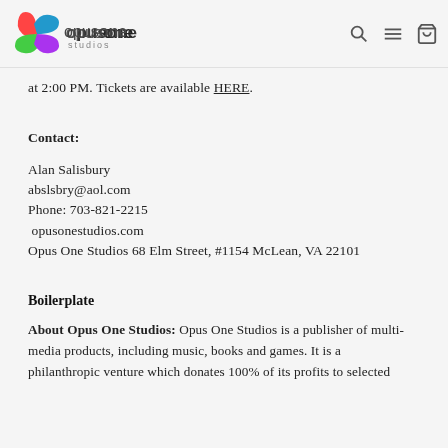opus one studios [logo with navigation icons]
at 2:00 PM. Tickets are available HERE.
Contact:
Alan Salisbury
abslsbry@aol.com
Phone: 703-821-2215
opusonestudios.com
Opus One Studios 68 Elm Street, #1154 McLean, VA 22101
Boilerplate
About Opus One Studios: Opus One Studios is a publisher of multi-media products, including music, books and games. It is a philanthropic venture which donates 100% of its profits to selected